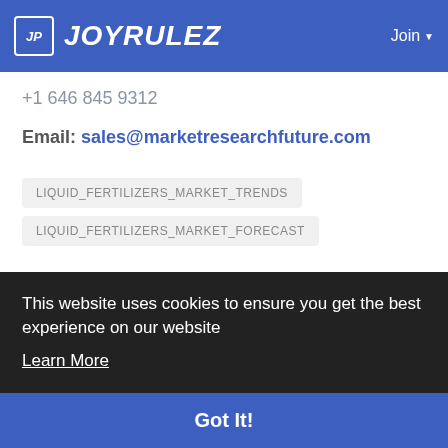JOYRULEZ — Join
+1 646 845 9312
Email: sales@marketresearchfuture.com
LIQUID_FERTILIZERS_MARKET_TRENDS
LIQUID_FERTILIZERS_MARKET_FORECAST
This website uses cookies to ensure you get the best experience on our website
Learn More
Got It!
INTERNET MARKETING   DANCE & EXERCISE